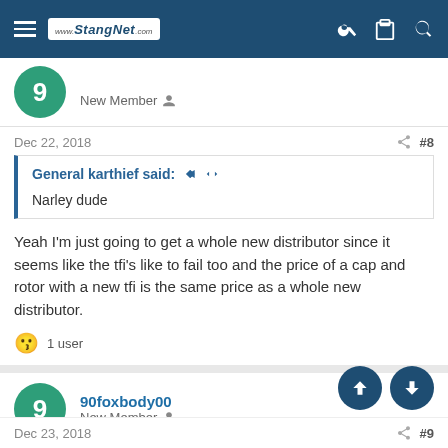www.StangNet.com
New Member
Dec 22, 2018  #8
General karthief said:
Narley dude
Yeah I'm just going to get a whole new distributor since it seems like the tfi's like to fail too and the price of a cap and rotor with a new tfi is the same price as a whole new distributor.
1 user
90foxbody00
New Member
Dec 23, 2018  #9